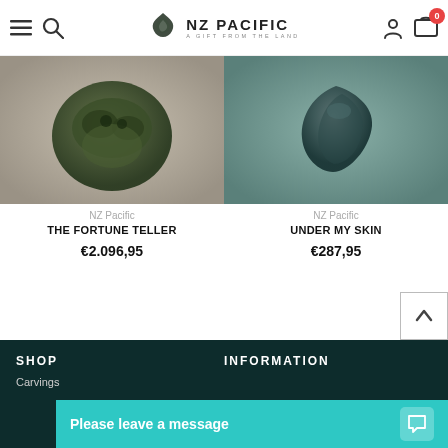NZ Pacific - A Gift From The Land
[Figure (photo): Dark jade/greenstone carving sculpture on beige background - THE FORTUNE TELLER]
NZ Pacific
THE FORTUNE TELLER
€2.096,95
[Figure (photo): Dark jade/greenstone sculptural pendant on teal background - UNDER MY SKIN]
NZ Pacific
UNDER MY SKIN
€287,95
SHOP
Carvings
INFORMATION
Please leave a message